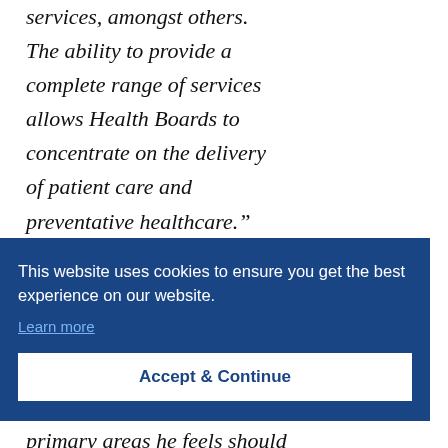services, amongst others. The ability to provide a complete range of services allows Health Boards to concentrate on the delivery of patient care and preventative healthcare.”
This website uses cookies to ensure you get the best experience on our website. Learn more
Accept & Continue
primary areas he feels should